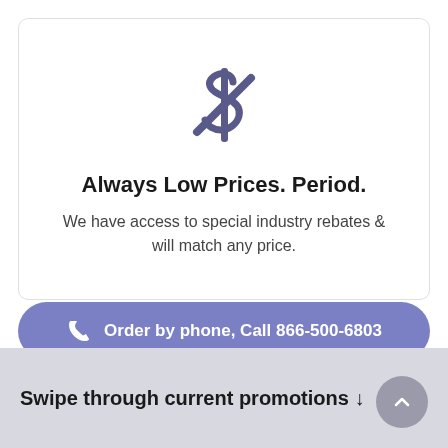[Figure (illustration): A crossed-out dollar sign icon in dark purple/slate color, indicating no hidden fees or price matching]
Always Low Prices. Period.
We have access to special industry rebates & will match any price.
Order by phone, Call 866-500-6803
Swipe through current promotions